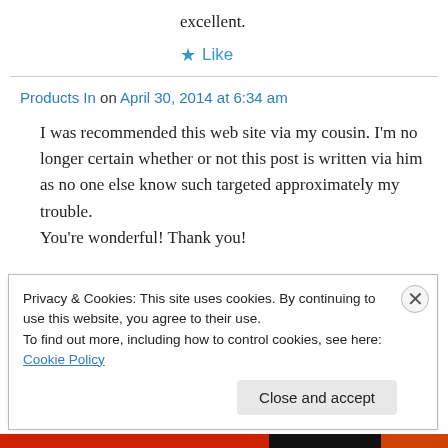excellent.
★ Like
Products In on April 30, 2014 at 6:34 am
I was recommended this web site via my cousin. I'm no longer certain whether or not this post is written via him as no one else know such targeted approximately my trouble. You're wonderful! Thank you!
Privacy & Cookies: This site uses cookies. By continuing to use this website, you agree to their use. To find out more, including how to control cookies, see here: Cookie Policy
Close and accept